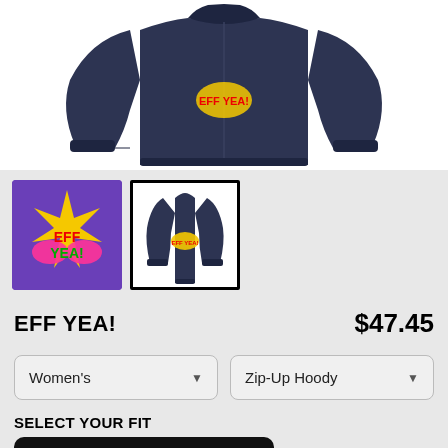[Figure (photo): Navy blue zip-up hoodie displayed flat, showing front and back views against white background]
[Figure (photo): Thumbnail 1: Colorful graphic design on purple background with yellow star burst and pink/red text]
[Figure (photo): Thumbnail 2 (selected): Navy zip-up hoodie with colorful back graphic, selected with black border]
EFF YEA!
$47.45
Women's
Zip-Up Hoody
SELECT YOUR FIT
$47.45
French Terry